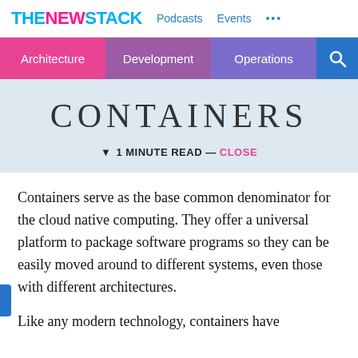THE NEW STACK   Podcasts   Events   •••
Architecture   Development   Operations
CONTAINERS
▼ 1 MINUTE READ — CLOSE
Containers serve as the base common denominator for the cloud native computing. They offer a universal platform to package software programs so they can be easily moved around to different systems, even those with different architectures.
Like any modern technology, containers have